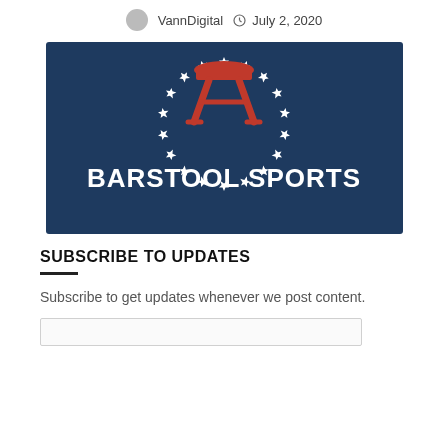VannDigital   July 2, 2020
[Figure (logo): Barstool Sports logo: dark navy blue background with a red barstool/bar stool icon in the center surrounded by a circle of white stars, and 'BARSTOOL SPORTS' text in large white bold letters below the icon.]
SUBSCRIBE TO UPDATES
Subscribe to get updates whenever we post content.